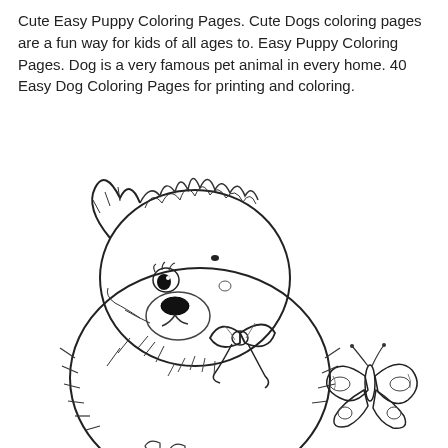Cute Easy Puppy Coloring Pages. Cute Dogs coloring pages are a fun way for kids of all ages to. Easy Puppy Coloring Pages. Dog is a very famous pet animal in every home. 40 Easy Dog Coloring Pages for printing and coloring.
[Figure (illustration): A coloring page illustration of a fluffy puppy with a bow/ribbon around its neck, looking upward to the left, with a butterfly perched to the lower right. The image is black and white line art in a cute, child-friendly style.]